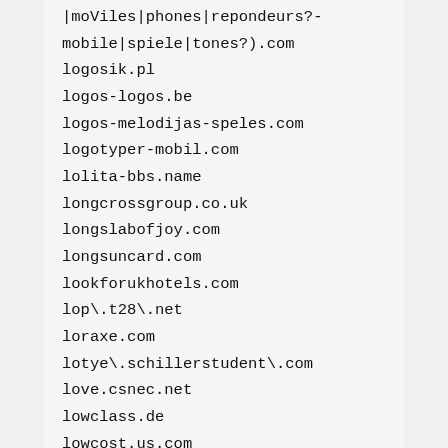|moViles|phones|repondeurs?-mobile|spiele|tones?).com
logosik.pl
logos-logos.be
logos-melodijas-speles.com
logotyper-mobil.com
lolita-bbs.name
longcrossgroup.co.uk
longslabofjoy.com
longsuncard.com
lookforukhotels.com
lop\.t28\.net
loraxe.com
lotye\.schillerstudent\.com
love.csnec.net
lowclass.de
lowcost.us.com
lowest-rates-mortgages.com
ltjz2000.com
lucking.com.cn